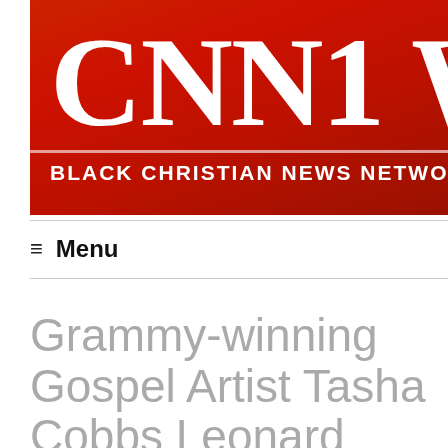[Figure (logo): CNN1 W — Black Christian News Network logo on red background]
≡  Menu
Grammy-winning Gospel Artist Tasha Cobbs Leonard Celebrates 10